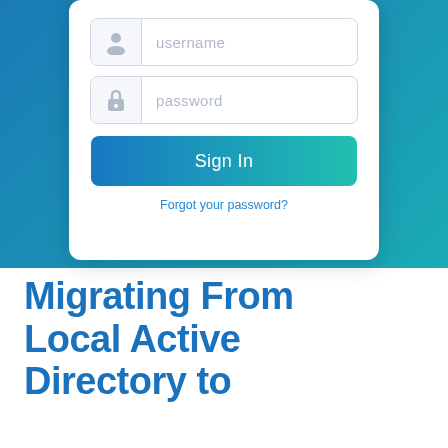[Figure (screenshot): Login form UI with username and password fields, Sign In button, and Forgot your password link, displayed on a blue-to-teal gradient background]
Migrating From Local Active Directory to